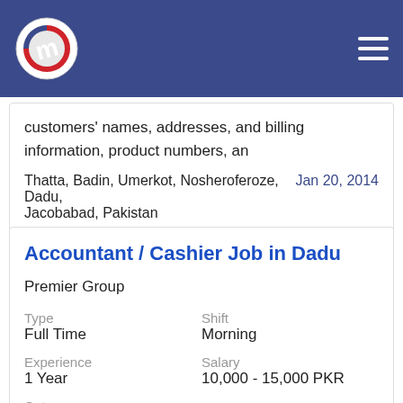customers' names, addresses, and billing information, product numbers, an
Thatta, Badin, Umerkot, Nosheroferoze, Dadu, Jacobabad, Pakistan   Jan 20, 2014
Accountant / Cashier Job in Dadu
Premier Group
Type
Full Time
Experience
1 Year
Category
Finance
Shift
Morning
Salary
10,000 - 15,000 PKR